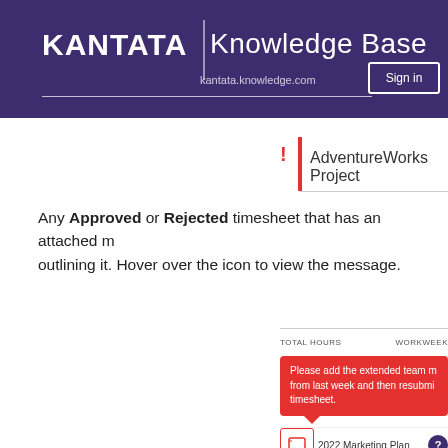[Figure (screenshot): Kantata Knowledge Base website header with purple background showing KANTATA logo, Knowledge Base text, search bar, and Sign in button]
[Figure (screenshot): Kantata timesheet interface showing AdventureWorks Project with red exclamation icon and red vertical bar indicator]
Any Approved or Rejected timesheet that has an attached message outlining it. Hover over the icon to view the message.
[Figure (screenshot): Timesheet interface bottom section showing TOTAL HOURS and WORKWEEK column headers, a red tooltip saying 'Please add the extended team members from last week and then resubmit timesheet.', and a row showing 2022 Marketing Plan with chat icon and info circle]